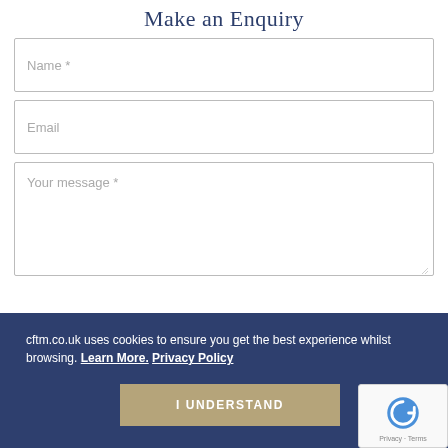Make an Enquiry
Name *
Email
Your message *
cftm.co.uk uses cookies to ensure you get the best experience whilst browsing. Learn More. Privacy Policy
I UNDERSTAND